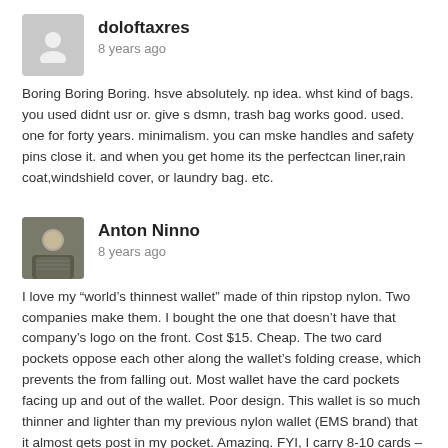[Figure (illustration): Gray placeholder avatar icon for user doloftaxres]
doloftaxres
8 years ago
Boring Boring Boring. hsve absolutely. np idea. whst kind of bags. you used didnt usr or. give s dsmn, trash bag works good. used. one for forty years. minimalism. you can mske handles and safety pins close it. and when you get home its the perfectcan liner,rain coat,windshield cover, or laundry bag. etc.
[Figure (photo): Profile photo of Anton Ninno, a person shown from shoulders up]
Anton Ninno
8 years ago
I love my “world’s thinnest wallet” made of thin ripstop nylon. Two companies make them. I bought the one that doesn’t have that company’s logo on the front. Cost $15. Cheap. The two card pockets oppose each other along the wallet’s folding crease, which prevents the from falling out. Most wallet have the card pockets facing up and out of the wallet. Poor design. This wallet is so much thinner and lighter than my previous nylon wallet (EMS brand) that it almost gets post in my pocket. Amazing. FYI, I carry 8-10 cards – 4 or 5 in each card pocket. There’s also a long pocket for paper money. I don’t like money clips. Also, I wanted to post on your Gel article, but couldn’t find a comment box. I made a Facebook group for fans of the Pilot Varsity “disposable” fountain pen. There are now over 200 members, worldwide. For the record, this